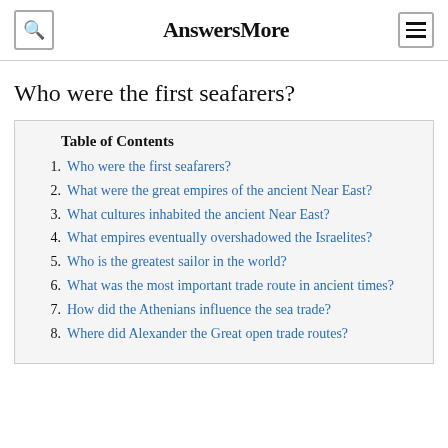AnswersMore
Who were the first seafarers?
Table of Contents
1. Who were the first seafarers?
2. What were the great empires of the ancient Near East?
3. What cultures inhabited the ancient Near East?
4. What empires eventually overshadowed the Israelites?
5. Who is the greatest sailor in the world?
6. What was the most important trade route in ancient times?
7. How did the Athenians influence the sea trade?
8. Where did Alexander the Great open trade routes?